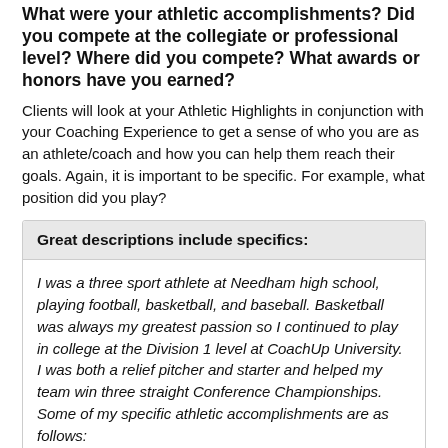What were your athletic accomplishments? Did you compete at the collegiate or professional level? Where did you compete? What awards or honors have you earned?
Clients will look at your Athletic Highlights in conjunction with your Coaching Experience to get a sense of who you are as an athlete/coach and how you can help them reach their goals. Again, it is important to be specific. For example, what position did you play?
Great descriptions include specifics:
I was a three sport athlete at Needham high school, playing football, basketball, and baseball. Basketball was always my greatest passion so I continued to play in college at the Division 1 level at CoachUp University. I was both a relief pitcher and starter and helped my team win three straight Conference Championships. Some of my specific athletic accomplishments are as follows: